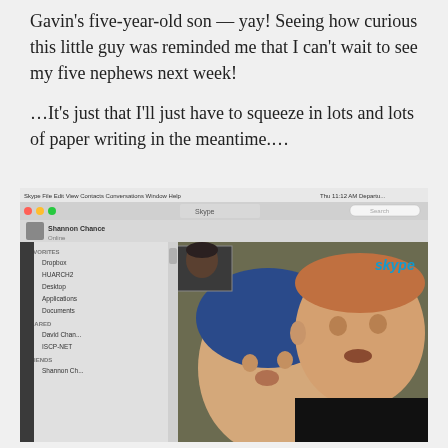Gavin's five-year-old son — yay!  Seeing how curious this little guy was reminded me that I can't wait to see my five nephews next week!
…It's just that I'll just have to squeeze in lots and lots of paper writing in the meantime.…
[Figure (screenshot): Screenshot of a Skype video call on a Mac showing a man and a young boy (Gavin's five-year-old son) on screen. The Skype interface is visible with sidebar showing Favorites, Shared contacts, and Friends sections. A small thumbnail of the caller is visible in the top-left of the video area. The Skype logo is visible in the top-right of the video area.]